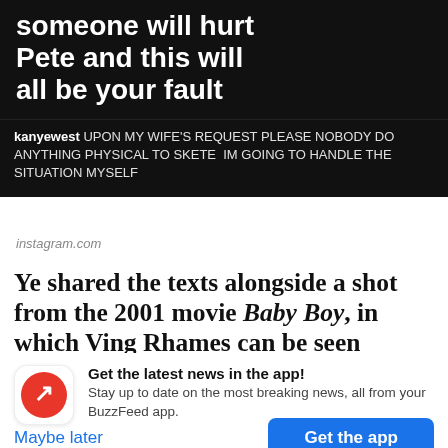someone will hurt Pete and this will all be your fault
kanyewest UPON MY WIFE'S REQUEST PLEASE NOBODY DO ANYTHING PHYSICAL TO SKETE  IM GOING TO HANDLE THE SITUATION MYSELF
instagram.com
Ye shared the texts alongside a shot from the 2001 movie Baby Boy, in which Ving Rhames can be seen
Get the latest news in the app! Stay up to date on the most breaking news, all from your BuzzFeed app.
Maybe later
Get the app